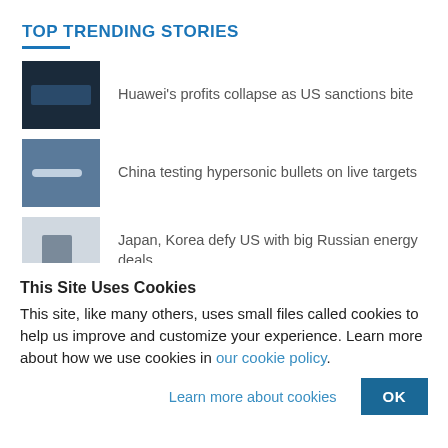TOP TRENDING STORIES
Huawei's profits collapse as US sanctions bite
China testing hypersonic bullets on live targets
Japan, Korea defy US with big Russian energy deals
Australia drifting towards a China conflict at sea
This Site Uses Cookies
This site, like many others, uses small files called cookies to help us improve and customize your experience. Learn more about how we use cookies in our cookie policy.
Learn more about cookies
OK